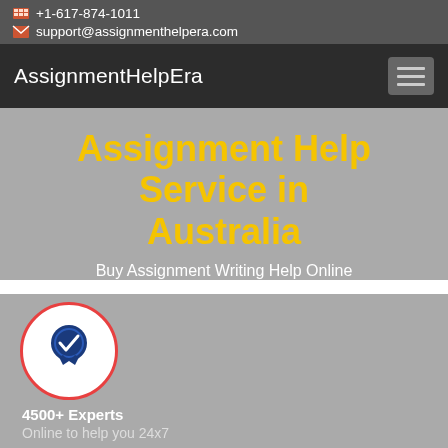+1-617-874-1011 support@assignmenthelpera.com
AssignmentHelpEra
Assignment Help Service in Australia
Buy Assignment Writing Help Online
[Figure (illustration): Blue award ribbon/badge with checkmark inside a white circle with red border]
4500+ Experts
Online to help you 24x7
[Figure (illustration): Partial red circle badge at bottom of page]